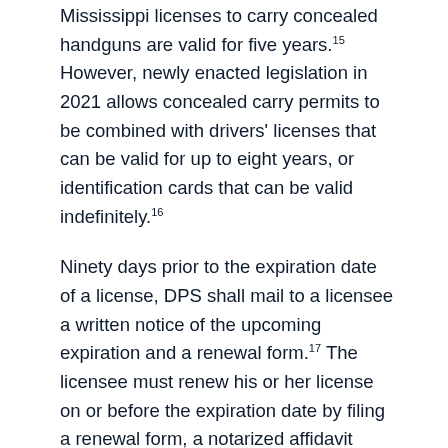Mississippi licenses to carry concealed handguns are valid for five years.15 However, newly enacted legislation in 2021 allows concealed carry permits to be combined with drivers' licenses that can be valid for up to eight years, or identification cards that can be valid indefinitely.16
Ninety days prior to the expiration date of a license, DPS shall mail to a licensee a written notice of the upcoming expiration and a renewal form.17 The licensee must renew his or her license on or before the expiration date by filing a renewal form, a notarized affidavit stating that the licensee remains qualified to carry a concealed weapon under state law,18 a full set of fingerprints, a renewal fee, plus costs of processing the fingerprints.19 If a licensee fails to file a renewal application on or before the license's expiration date, he or she must renew the license by paying a late fee.20